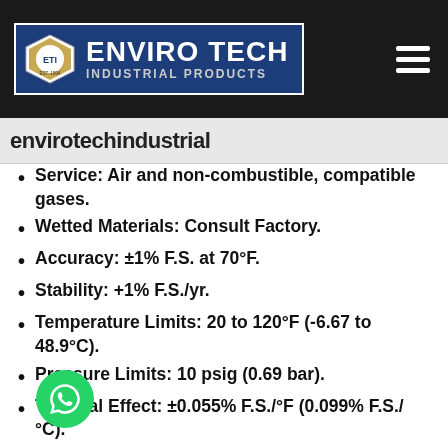ENVIRO TECH INDUSTRIAL PRODUCTS
envirotechi ndustrial
Service: Air and non-combustible, compatible gases.
Wetted Materials: Consult Factory.
Accuracy: ±1% F.S. at 70°F.
Stability: +1% F.S./yr.
Temperature Limits: 20 to 120°F (-6.67 to 48.9°C).
Pressure Limits: 10 psig (0.69 bar).
Thermal Effect: ±0.055% F.S./°F (0.099% F.S./°C).
Power Requirements: 10-35 VDC (2 wire).
Output Signal: 4 to 20 mA.
Zero and Span Adjustments: Digital push-